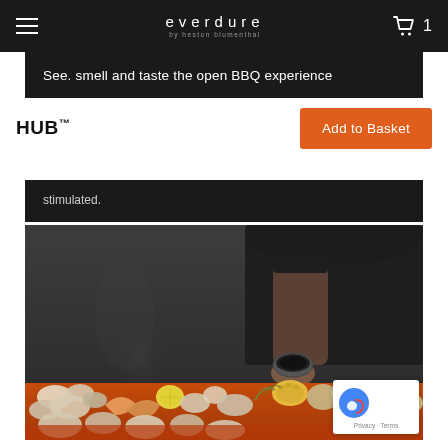everdure by heston blumenthal
See. smell and taste the open BBQ experience
HUB™
Add to Basket
stimulated.
[Figure (photo): Chef in black apron holding a small bowl, with a large tray of grilled seafood and vegetables in the foreground, smoke visible]
Privacy · Terms